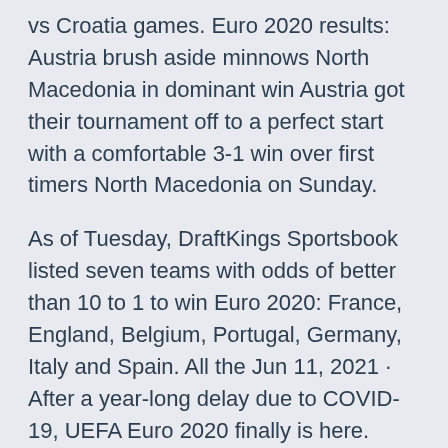vs Croatia games. Euro 2020 results: Austria brush aside minnows North Macedonia in dominant win Austria got their tournament off to a perfect start with a comfortable 3-1 win over first timers North Macedonia on Sunday.
As of Tuesday, DraftKings Sportsbook listed seven teams with odds of better than 10 to 1 to win Euro 2020: France, England, Belgium, Portugal, Germany, Italy and Spain. All the Jun 11, 2021 · After a year-long delay due to COVID-19, UEFA Euro 2020 finally is here. Take a look at the groups, host cities, match schedule and odds to win. Harry Kane is 11/2 (7.50) favourite with bet365 to win the Euro 2020 Golden Boot. The England striker won the award at the 2018 World Cup with six strikes, most notably recording a hat-trick Jun 08, 2021 · 13/06: Austria vs North Macedonia